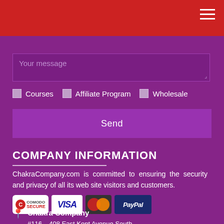[Figure (screenshot): Red navigation header bar with hamburger menu icon (three white horizontal lines) on top right]
[Figure (screenshot): Text area input field with placeholder 'Your message' and resize handle, on purple background]
Courses   Affiliate Program   Wholesale
Send
COMPANY INFORMATION
ChakraCompany.com is committed to ensuring the security and privacy of all its web site visitors and customers.
[Figure (logo): Security badges row: Comodo Secure, Visa, MasterCard, PayPal]
Chakra Company
#116 – 408 East Kent Avenue South
Vancouver, BC, V5X 2X7, Canada